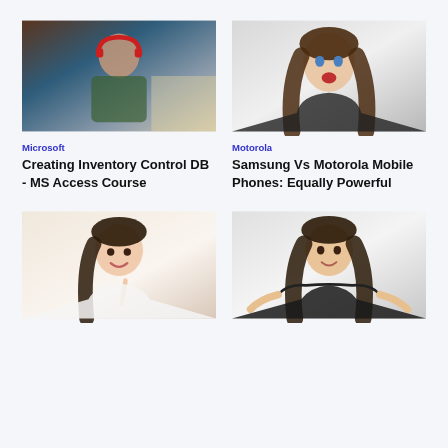[Figure (photo): Man with red headphones working at a desk with a laptop, wearing a plaid shirt]
Microsoft
Creating Inventory Control DB - MS Access Course
[Figure (photo): Surprised young woman with long brown wavy hair and open mouth, wearing a black top]
Motorola
Samsung Vs Motorola Mobile Phones: Equally Powerful
[Figure (photo): Smiling young Asian woman holding up a finger, wearing white]
[Figure (photo): Young woman with long wavy hair shrugging with both hands open, wearing black]